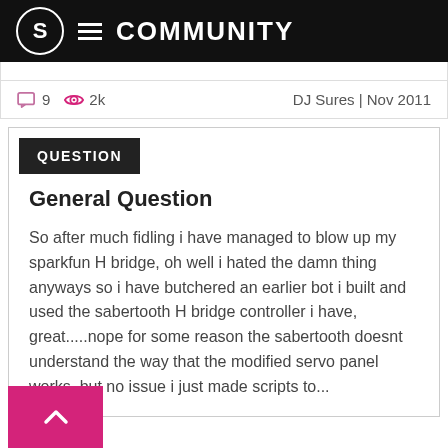COMMUNITY
9  2k  DJ Sures | Nov 2011
QUESTION
General Question
So after much fidling i have managed to blow up my sparkfun H bridge, oh well i hated the damn thing anyways so i have butchered an earlier bot i built and used the sabertooth H bridge controller i have, great.....nope for some reason the sabertooth doesnt understand the way that the modified servo panel works, but no issue i just made scripts to...